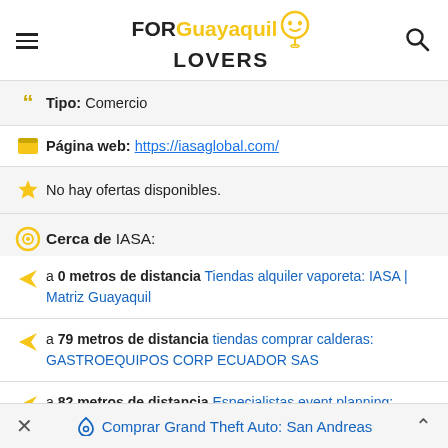FOR Guayaquil LOVERS [logo with pin icon and hamburger menu, search icon]
Tipo: Comercio
Página web: https://iasaglobal.com/
No hay ofertas disponibles.
Cerca de IASA:
a 0 metros de distancia Tiendas alquiler vaporeta: IASA | Matriz Guayaquil
a 79 metros de distancia tiendas comprar calderas: GASTROEQUIPOS CORP ECUADOR SAS
a 82 metros de distancia Especialistas event planning: Eventos AC_ Ecuador
Comprar Grand Theft Auto: San Andreas